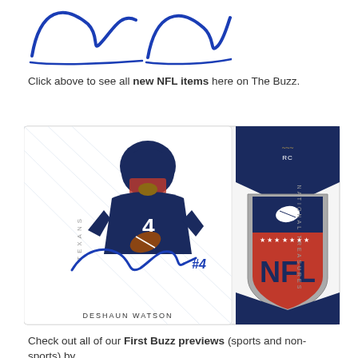[Figure (illustration): Blue cursive handwritten signature strokes at the top of the page]
Click above to see all new NFL items here on The Buzz.
[Figure (photo): Deshaun Watson National Treasures Rookie Card showing Watson in Houston Texans uniform holding a football, with blue autograph signature and #4, alongside an NFL shield logo patch. Text reads TEXANS vertically on left and NATIONAL TREASURES vertically on right, with DESHAUN WATSON at bottom and RC badge at top.]
Check out all of our First Buzz previews (sports and non-sports) by